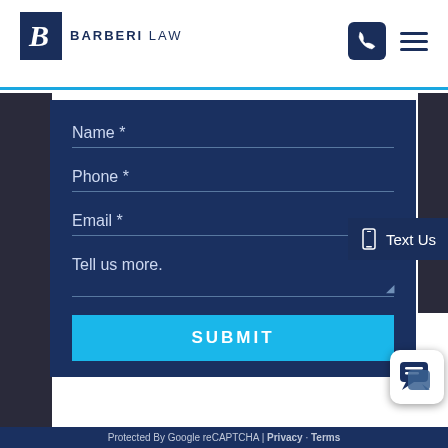[Figure (logo): Barberi Law logo with dark navy B monogram in a square, text reads BARBERI LAW]
Name *
Phone *
Email *
Tell us more.
SUBMIT
Text Us
Protected By Google reCAPTCHA | Privacy · Terms